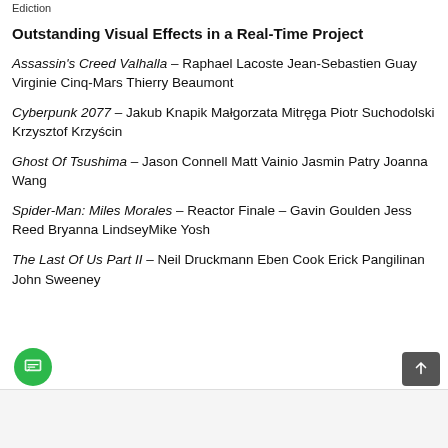Ediction
Outstanding Visual Effects in a Real-Time Project
Assassin's Creed Valhalla – Raphael Lacoste Jean-Sebastien Guay Virginie Cinq-Mars Thierry Beaumont
Cyberpunk 2077  – Jakub Knapik Małgorzata Mitręga Piotr Suchodolski Krzysztof Krzyścin
Ghost Of Tsushima – Jason Connell Matt Vainio Jasmin Patry Joanna Wang
Spider-Man: Miles Morales – Reactor Finale – Gavin Goulden Jess Reed Bryanna LindseyMike Yosh
The Last Of Us Part II – Neil Druckmann Eben Cook Erick Pangilinan John Sweeney